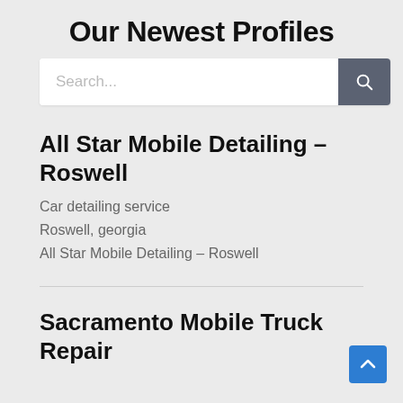Our Newest Profiles
[Figure (screenshot): Search bar with text input field and dark grey search button with magnifying glass icon]
All Star Mobile Detailing – Roswell
Car detailing service
Roswell, georgia
All Star Mobile Detailing – Roswell
Sacramento Mobile Truck Repair